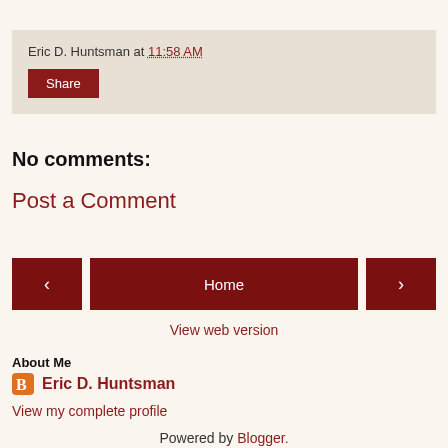Eric D. Huntsman at 11:58 AM
Share
No comments:
Post a Comment
‹
Home
›
View web version
About Me
Eric D. Huntsman
View my complete profile
Powered by Blogger.